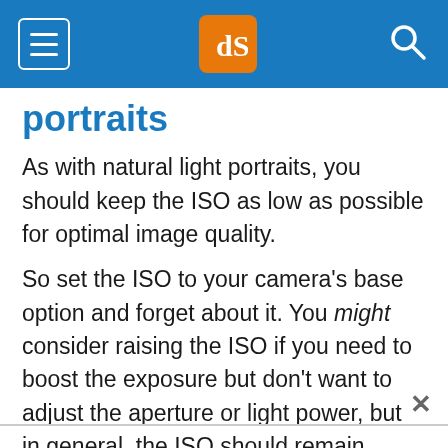dPS navigation bar
portraits
As with natural light portraits, you should keep the ISO as low as possible for optimal image quality.
So set the ISO to your camera's base option and forget about it. You might consider raising the ISO if you need to boost the exposure but don't want to adjust the aperture or light power, but in general, the ISO should remain untouched.